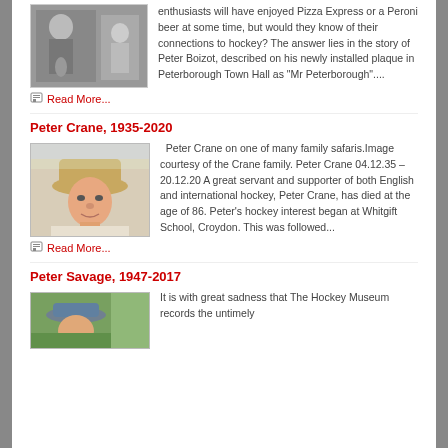[Figure (photo): Black and white photo of a man, and another person in background]
enthusiasts will have enjoyed Pizza Express or a Peroni beer at some time, but would they know of their connections to hockey? The answer lies in the story of Peter Boizot, described on his newly installed plaque in Peterborough Town Hall as "Mr Peterborough"....
Read More...
Peter Crane, 1935-2020
[Figure (photo): Color photo of Peter Crane wearing a hat on a safari]
Peter Crane on one of many family safaris.Image courtesy of the Crane family. Peter Crane 04.12.35 – 20.12.20 A great servant and supporter of both English and international hockey, Peter Crane, has died at the age of 86. Peter's hockey interest began at Whitgift School, Croydon. This was followed...
Read More...
Peter Savage, 1947-2017
[Figure (photo): Color photo of Peter Savage wearing a cap]
It is with great sadness that The Hockey Museum records the untimely